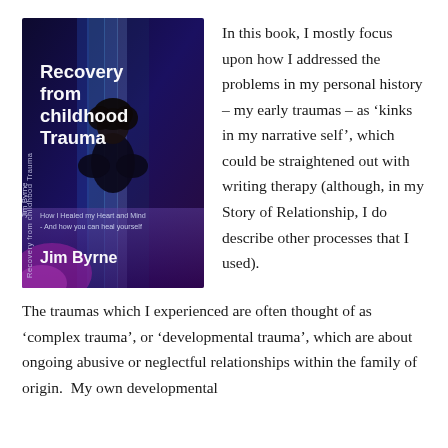[Figure (illustration): Book cover of 'Recovery from childhood Trauma' by Jim Byrne. Dark blue/purple background with silhouette of a person from behind. Text reads: 'Recovery from childhood Trauma', subtitle 'How I Healed my Heart and Mind - And how you can heal yourself', author 'Jim Byrne'. Spine text reads 'Recovery from childhood Trauma'.]
In this book, I mostly focus upon how I addressed the problems in my personal history – my early traumas – as ‘kinks in my narrative self’, which could be straightened out with writing therapy (although, in my Story of Relationship, I do describe other processes that I used).
The traumas which I experienced are often thought of as ‘complex trauma’, or ‘developmental trauma’, which are about ongoing abusive or neglectful relationships within the family of origin.  My own developmental